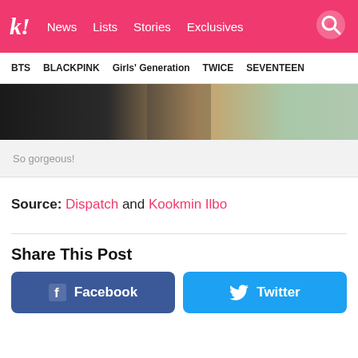k! News Lists Stories Exclusives
BTS BLACKPINK Girls' Generation TWICE SEVENTEEN
[Figure (photo): Partial photo showing black outfit and background, bottom portion of image]
So gorgeous!
Source: Dispatch and Kookmin Ilbo
Share This Post
Facebook
Twitter